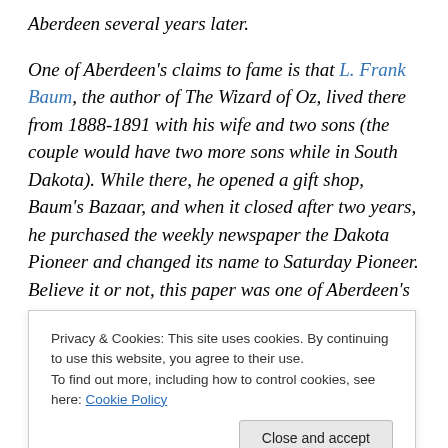Aberdeen several years later.
One of Aberdeen's claims to fame is that L. Frank Baum, the author of The Wizard of Oz, lived there from 1888-1891 with his wife and two sons (the couple would have two more sons while in South Dakota). While there, he opened a gift shop, Baum's Bazaar, and when it closed after two years, he purchased the weekly newspaper the Dakota Pioneer and changed its name to Saturday Pioneer. Believe it or not, this paper was one of Aberdeen's seven weekly papers and two dailies at the
Privacy & Cookies: This site uses cookies. By continuing to use this website, you agree to their use.
To find out more, including how to control cookies, see here: Cookie Policy
Retreat from Burma, 1942